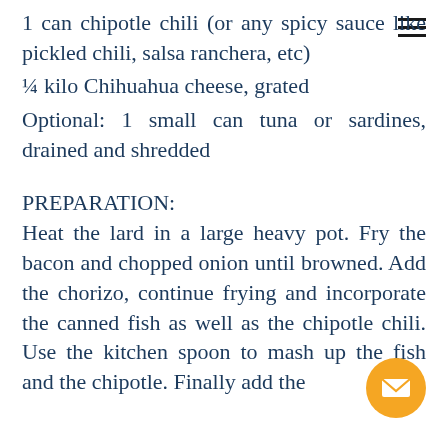1 can chipotle chili (or any spicy sauce like pickled chili, salsa ranchera, etc)
¼ kilo Chihuahua cheese, grated
Optional: 1 small can tuna or sardines, drained and shredded
PREPARATION:
Heat the lard in a large heavy pot. Fry the bacon and chopped onion until browned. Add the chorizo, continue frying and incorporate the canned fish as well as the chipotle chili. Use the kitchen spoon to mash up the fish and the chipotle. Finally add the